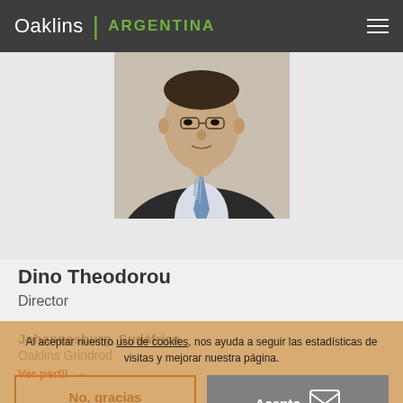Oaklins | ARGENTINA
[Figure (photo): Professional headshot of Dino Theodorou, a man in a dark suit with a striped tie]
Dino Theodorou
Director
Johannesburg, Sudáfrica
Oaklins Grindrod
Ver perfil →
Al aceptar nuestro uso de cookies, nos ayuda a seguir las estadísticas de visitas y mejorar nuestra página.
No, gracias
Acepto